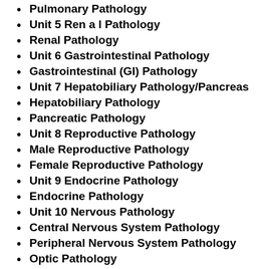Pulmonary Pathology
Unit 5 Ren a l Pathology
Renal Pathology
Unit 6 Gastrointestinal Pathology
Gastrointestinal (GI) Pathology
Unit 7 Hepatobiliary Pathology/Pancreas
Hepatobiliary Pathology
Pancreatic Pathology
Unit 8 Reproductive Pathology
Male Reproductive Pathology
Female Reproductive Pathology
Unit 9 Endocrine Pathology
Endocrine Pathology
Unit 10 Nervous Pathology
Central Nervous System Pathology
Peripheral Nervous System Pathology
Optic Pathology
Unit 11 Musculoskeleton and Connective Tissue